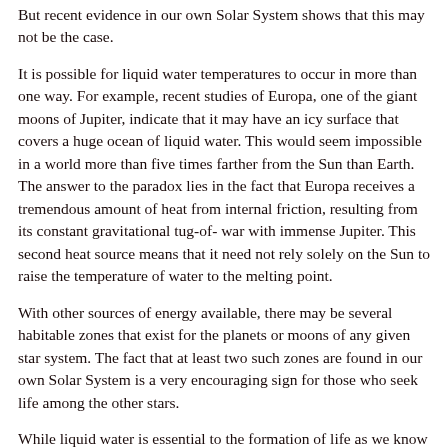But recent evidence in our own Solar System shows that this may not be the case.
It is possible for liquid water temperatures to occur in more than one way. For example, recent studies of Europa, one of the giant moons of Jupiter, indicate that it may have an icy surface that covers a huge ocean of liquid water. This would seem impossible in a world more than five times farther from the Sun than Earth. The answer to the paradox lies in the fact that Europa receives a tremendous amount of heat from internal friction, resulting from its constant gravitational tug-of- war with immense Jupiter. This second heat source means that it need not rely solely on the Sun to raise the temperature of water to the melting point.
With other sources of energy available, there may be several habitable zones that exist for the planets or moons of any given star system. The fact that at least two such zones are found in our own Solar System is a very encouraging sign for those who seek life among the other stars.
While liquid water is essential to the formation of life as we know it , it is not the only ingredient needed. All of the life forms with which we are familiar require not only water, but the element carbon. Carbon readily bonds with other elements such as hydrogen, nitrogen and oxygen to create a wide range of compounds. These carbon compounds are the building blocks of